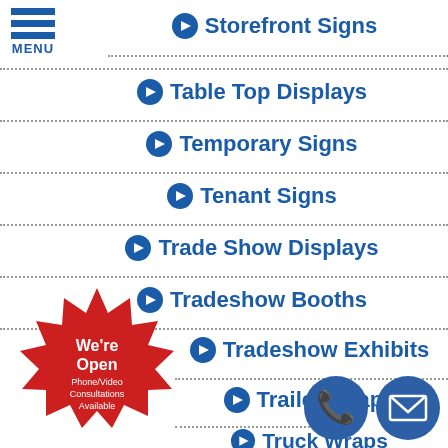[Figure (logo): Hamburger menu icon with three blue horizontal bars and MENU text below]
Storefront Signs
Table Top Displays
Temporary Signs
Tenant Signs
Trade Show Displays
Tradeshow Booths
Tradeshow Exhibits
Trailer Wraps
Truck Wraps
[Figure (illustration): Red starburst badge with text: We're Open Phone/Video Consultations Available]
[Figure (illustration): Two blue circular buttons: phone handset icon and email envelope icon]